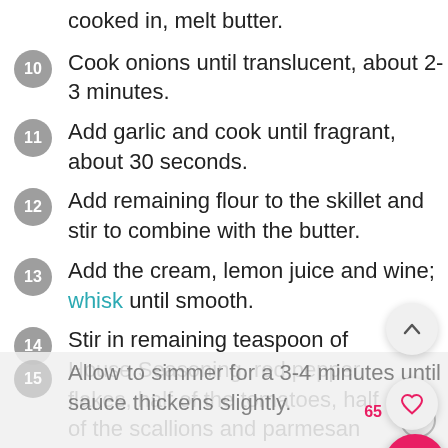cooked in, melt butter.
10. Cook onions until translucent, about 2-3 minutes.
11. Add garlic and cook until fragrant, about 30 seconds.
12. Add remaining flour to the skillet and stir to combine with the butter.
13. Add the cream, lemon juice and wine; whisk until smooth.
14. Stir in remaining teaspoon of House Seasoning, red pepper flakes, half of the tomatoes, half of the scallions and parmesan cheese; whisk until combined.
15. Allow to simmer for a 3-4 minutes until sauce thickens slightly.